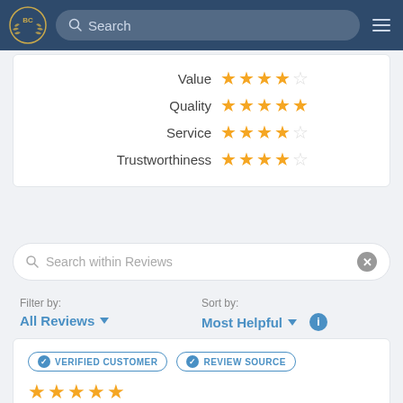[Figure (screenshot): Navigation bar with BC logo, search bar, and hamburger menu on dark blue background]
| Category | Rating |
| --- | --- |
| Value | 3.5 stars |
| Quality | 4.5 stars |
| Service | 4 stars |
| Trustworthiness | 4 stars |
Search within Reviews
Filter by: All Reviews
Sort by: Most Helpful
VERIFIED CUSTOMER   REVIEW SOURCE
5 stars
Hema Panke  Somerset, NJ